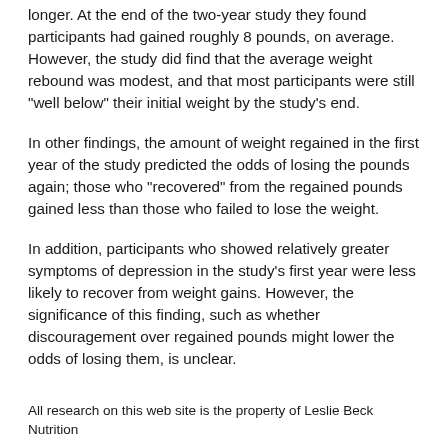longer. At the end of the two-year study they found participants had gained roughly 8 pounds, on average. However, the study did find that the average weight rebound was modest, and that most participants were still "well below" their initial weight by the study's end.
In other findings, the amount of weight regained in the first year of the study predicted the odds of losing the pounds again; those who "recovered" from the regained pounds gained less than those who failed to lose the weight.
In addition, participants who showed relatively greater symptoms of depression in the study's first year were less likely to recover from weight gains. However, the significance of this finding, such as whether discouragement over regained pounds might lower the odds of losing them, is unclear.
All research on this web site is the property of Leslie Beck Nutrition